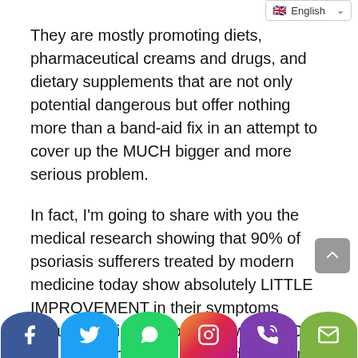English
They are mostly promoting diets, pharmaceutical creams and drugs, and dietary supplements that are not only potential dangerous but offer nothing more than a band-aid fix in an attempt to cover up the MUCH bigger and more serious problem.
In fact, I'm going to share with you the medical research showing that 90% of psoriasis sufferers treated by modern medicine today show absolutely LITTLE IMPROVEMENT in their symptoms (actually their symptoms get worse). Over half of all psoriasis sufferers don't even get treated conventionally because of the high cost and ineffectiveness of